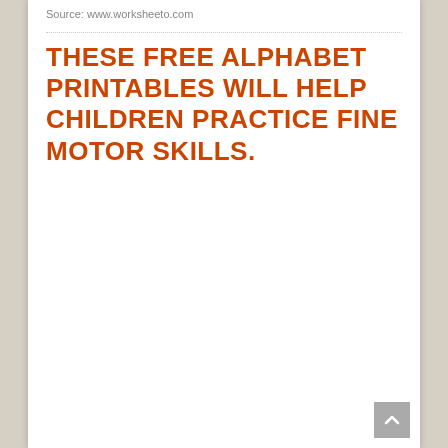Source: www.worksheeto.com
THESE FREE ALPHABET PRINTABLES WILL HELP CHILDREN PRACTICE FINE MOTOR SKILLS.